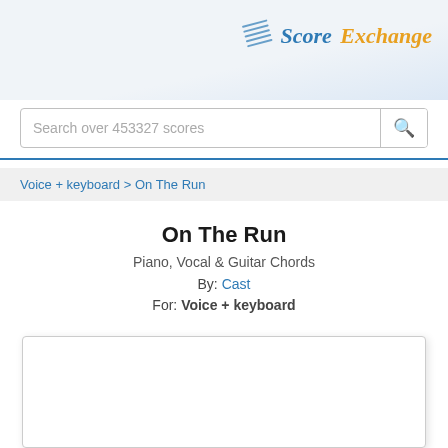[Figure (logo): Score Exchange logo with music staff icon, 'Score' in blue italic and 'Exchange' in orange italic]
Search over 453327 scores
Voice + keyboard > On The Run
On The Run
Piano, Vocal & Guitar Chords
By: Cast
For: Voice + keyboard
[Figure (other): White blank sheet music score preview area]